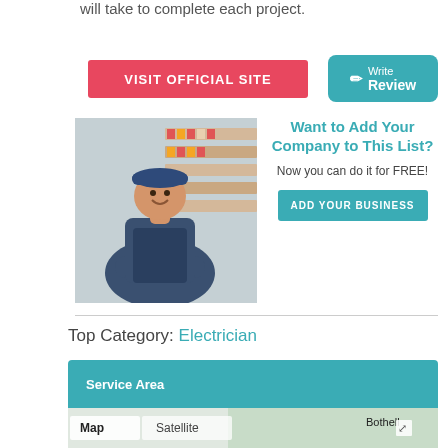will take to complete each project.
VISIT OFFICIAL SITE
Write Review
[Figure (photo): A smiling male worker in a blue uniform and cap standing in front of store shelves with arms crossed]
Want to Add Your Company to This List?
Now you can do it for FREE!
ADD YOUR BUSINESS
Top Category: Electrician
Service Area
[Figure (map): Google map showing area around Bothell with Map and Satellite toggle tabs]